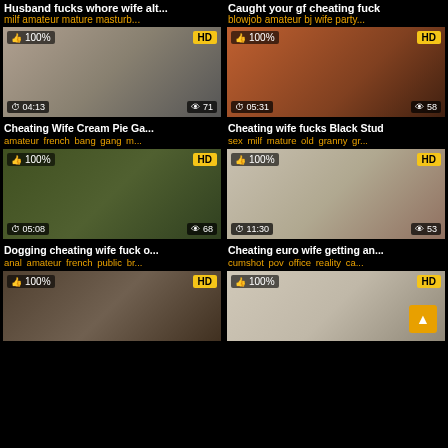Husband fucks whore wife alt... | Caught your gf cheating fuck
milf amateur mature masturb... | blowjob amateur bj wife party...
[Figure (photo): Video thumbnail - Cheating Wife Cream Pie Ga..., 04:13, 71 views, 100%, HD]
[Figure (photo): Video thumbnail - Cheating wife fucks Black Stud, 05:31, 58 views, 100%, HD]
Cheating Wife Cream Pie Ga...
Cheating wife fucks Black Stud
amateur french bang gang m...
sex milf mature old granny gr...
[Figure (photo): Video thumbnail - Dogging cheating wife fuck o..., 05:08, 68 views, 100%, HD]
[Figure (photo): Video thumbnail - Cheating euro wife getting an..., 11:30, 53 views, 100%, HD]
Dogging cheating wife fuck o...
Cheating euro wife getting an...
anal amateur french public br...
cumshot pov office reality ca...
[Figure (photo): Video thumbnail - partial view, 100%, HD]
[Figure (photo): Video thumbnail - partial view, 100%, HD]